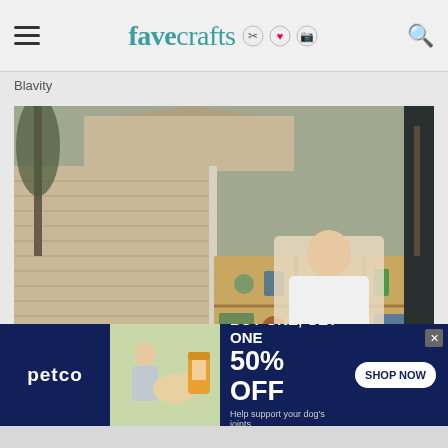favecrafts
Blavity
[Figure (screenshot): Video player showing a woman standing in front of a wooden bookshelf outdoors, beside a house with tan siding. The video is paused with playback controls visible including a play button. Background shows trees and suburban home.]
[Figure (infographic): Petco advertisement banner: BUY ONE, GET ONE 50% OFF - Help support your dog's joints with a premium supplement. SHOP NOW button. Shows a woman with a golden retriever dog and supplement products.]